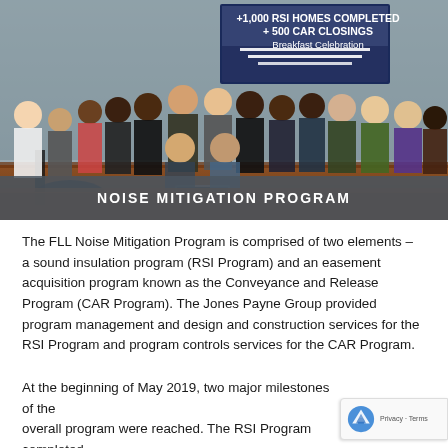[Figure (photo): Group photo of approximately 20 people standing in an office conference room in front of a banner reading '+1,000 RSI HOMES COMPLETED + 500 CAR CLOSINGS Breakfast Celebration'. A dark semi-transparent banner overlay at the bottom reads 'NOISE MITIGATION PROGRAM'.]
The FLL Noise Mitigation Program is comprised of two elements – a sound insulation program (RSI Program) and an easement acquisition program known as the Conveyance and Release Program (CAR Program). The Jones Payne Group provided program management and design and construction services for the RSI Program and program controls services for the CAR Program.
At the beginning of May 2019, two major milestones of the overall program were reached. The RSI Program completed construction on 1,000 homes, and as of today, we have completed 1,003 of the 1,094 homes in the program.